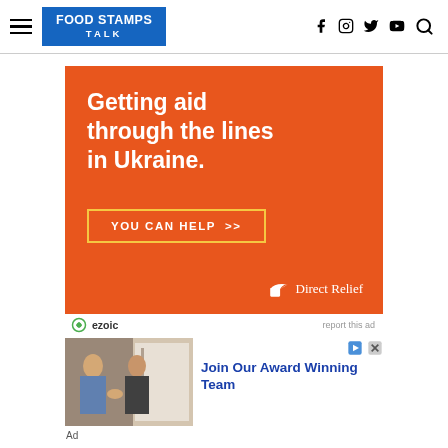FOOD STAMPS TALK
[Figure (infographic): Orange advertisement banner for Direct Relief: 'Getting aid through the lines in Ukraine. YOU CAN HELP >> Direct Relief logo']
ezoic   report this ad
[Figure (photo): Two men shaking hands at a doorway]
Join Our Award Winning Team
Ad